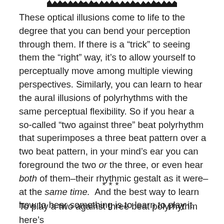[Figure (other): Decorative header image — a dense black smudge/brush stroke spanning the top center of the page]
These optical illusions come to life to the degree that you can bend your perception through them. If there is a “trick” to seeing them the “right” way, it’s to allow yourself to perceptually move among multiple viewing perspectives. Similarly, you can learn to hear the aural illusions of polyrhythms with the same perceptual flexibility. So if you hear a so-called “two against three” beat polyrhythm that superimposes a three beat pattern over a two beat pattern, in your mind’s ear you can foreground the two or the three, or even hear both of them–their rhythmic gestalt as it were–at the same time.  And the best way to learn how to hear something is to learn to play it.
***
To play a two against three beat polyrhythm here’s